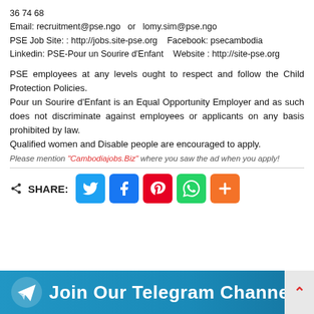36 74 68
Email: recruitment@pse.ngo  or  lomy.sim@pse.ngo
PSE Job Site: : http://jobs.site-pse.org   Facebook: psecambodia
Linkedin: PSE-Pour un Sourire d'Enfant   Website : http://site-pse.org
PSE employees at any levels ought to respect and follow the Child Protection Policies.
Pour un Sourire d'Enfant is an Equal Opportunity Employer and as such does not discriminate against employees or applicants on any basis prohibited by law.
Qualified women and Disable people are encouraged to apply.
Please mention "Cambodiajobs.Biz" where you saw the ad when you apply!
[Figure (infographic): Share buttons row: Twitter (blue), Facebook (dark blue), Pinterest (red), WhatsApp (green), Plus (orange)]
[Figure (infographic): Telegram channel banner: Join Our Telegram Channel with Telegram logo icon and corner decoration]